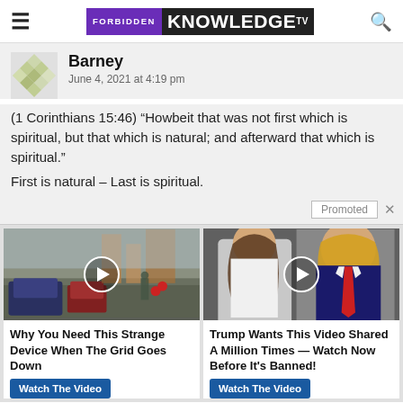FORBIDDEN KNOWLEDGE TV
Barney
June 4, 2021 at 4:19 pm
(1 Corinthians 15:46) “Howbeit that was not first which is spiritual, but that which is natural; and afterward that which is spiritual.”
First is natural – Last is spiritual.
Promoted
[Figure (photo): Street scene with cars and pedestrians, with a play button overlay. Ad for 'Why You Need This Strange Device When The Grid Goes Down']
Why You Need This Strange Device When The Grid Goes Down
Watch The Video
[Figure (photo): Photo of Melania and Donald Trump, with a play button overlay. Ad for 'Trump Wants This Video Shared A Million Times — Watch Now Before It's Banned!']
Trump Wants This Video Shared A Million Times — Watch Now Before It's Banned!
Watch The Video